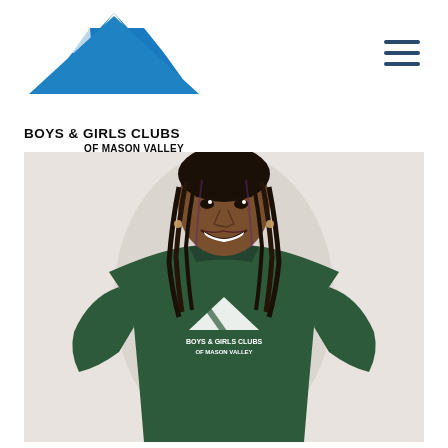[Figure (logo): Boys & Girls Clubs of Mason Valley logo - blue stylized hands/roof icon above organization name text]
[Figure (photo): Young Black woman smiling, wearing a dark green Boys & Girls Clubs of Mason Valley t-shirt with white logo and text, braided hair, photographed against a light background]